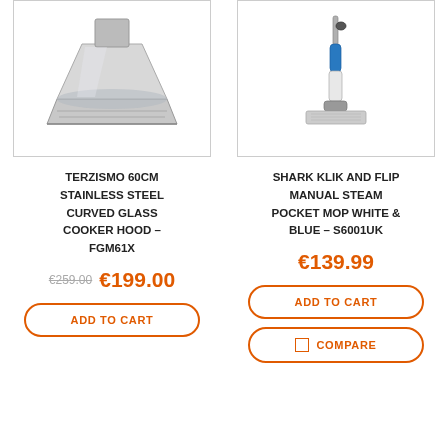[Figure (photo): Terzismo 60cm stainless steel curved glass cooker hood product image]
TERZISMO 60CM STAINLESS STEEL CURVED GLASS COOKER HOOD – FGM61X
€259.00 €199.00
ADD TO CART
[Figure (photo): Shark Klik and Flip Manual Steam Pocket Mop white and blue product image]
SHARK KLIK AND FLIP MANUAL STEAM POCKET MOP WHITE & BLUE – S6001UK
€139.99
ADD TO CART
COMPARE